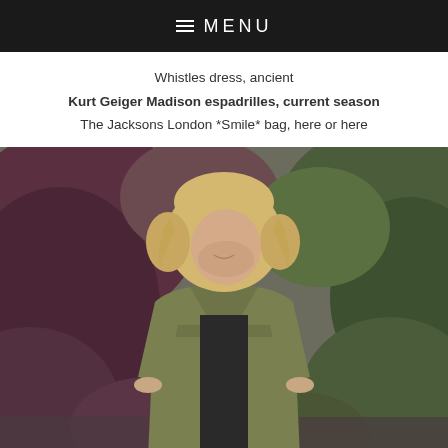≡ MENU
Whistles dress, ancient
Kurt Geiger Madison espadrilles, current season
The Jacksons London *Smile* bag, here or here
[Figure (photo): Blonde woman wearing an olive/khaki military-style jacket over a dark outfit, standing in front of lush foliage with reddish and green leaves, looking down]